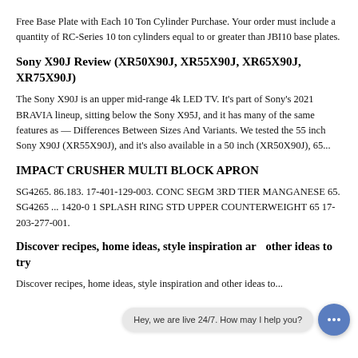Free Base Plate with Each 10 Ton Cylinder Purchase. Your order must include a quantity of RC-Series 10 ton cylinders equal to or greater than JBI10 base plates.
Sony X90J Review (XR50X90J, XR55X90J, XR65X90J, XR75X90J)
The Sony X90J is an upper mid-range 4k LED TV. It's part of Sony's 2021 BRAVIA lineup, sitting below the Sony X95J, and it has many of the same features as — Differences Between Sizes And Variants. We tested the 55 inch Sony X90J (XR55X90J), and it's also available in a 50 inch (XR50X90J), 65...
IMPACT CRUSHER MULTI BLOCK APRON
SG4265. 86.183. 17-401-129-003. CONC SEGM 3RD TIER MANGANESE 65. SG4265 ... 1420-0 1 SPLASH RING STD UPPER COUNTERWEIGHT 65 17-203-277-001.
Discover recipes, home ideas, style inspiration and other ideas to try
Discover recipes, home ideas, style inspiration and other ideas to...